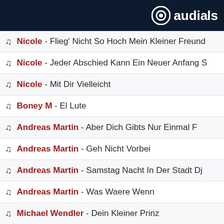[Figure (logo): Audials logo with white circle icon and 'audials' text on dark navy background]
Nicole - Flieg' Nicht So Hoch Mein Kleiner Freund
Nicole - Jeder Abschied Kann Ein Neuer Anfang S
Nicole - Mit Dir Vielleicht
Boney M - El Lute
Andreas Martin - Aber Dich Gibts Nur Einmal F
Andreas Martin - Geh Nicht Vorbei
Andreas Martin - Samstag Nacht In Der Stadt Dj
Andreas Martin - Was Waere Wenn
Michael Wendler - Dein Kleiner Prinz
Michael Wendler - Wer Weiss Warum
Udo L - Liebe Ohne Leiden